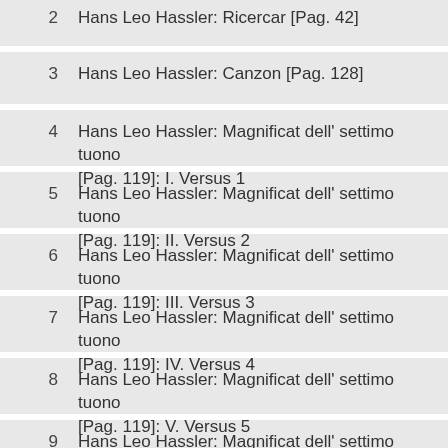2  Hans Leo Hassler: Ricercar [Pag. 42]
3  Hans Leo Hassler: Canzon [Pag. 128]
4  Hans Leo Hassler: Magnificat dell' settimo tuono [Pag. 119]: I. Versus 1
5  Hans Leo Hassler: Magnificat dell' settimo tuono [Pag. 119]: II. Versus 2
6  Hans Leo Hassler: Magnificat dell' settimo tuono [Pag. 119]: III. Versus 3
7  Hans Leo Hassler: Magnificat dell' settimo tuono [Pag. 119]: IV. Versus 4
8  Hans Leo Hassler: Magnificat dell' settimo tuono [Pag. 119]: V. Versus 5
9  Hans Leo Hassler: Magnificat dell' settimo tuono [Pag. 119]: VI. Versus 6